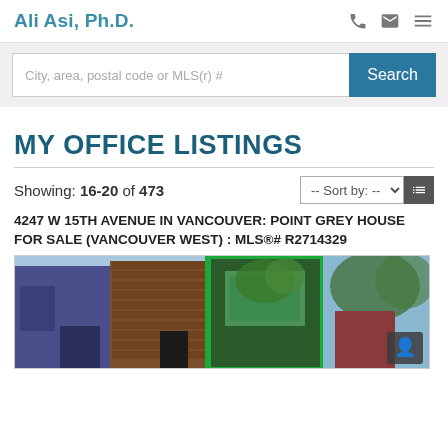Ali Asi, Ph.D.
City, area, postal code or MLS(r) #
MY OFFICE LISTINGS
Showing: 16-20 of 473
4247 W 15TH AVENUE IN VANCOUVER: POINT GREY HOUSE FOR SALE (VANCOUVER WEST) : MLS®# R2714329
[Figure (photo): Exterior photo of a modern house at 4247 W 15th Avenue, Vancouver, showing multiple facades including a purple/blue section, brown wood siding, and a teal/green framed section with trees visible in the background.]